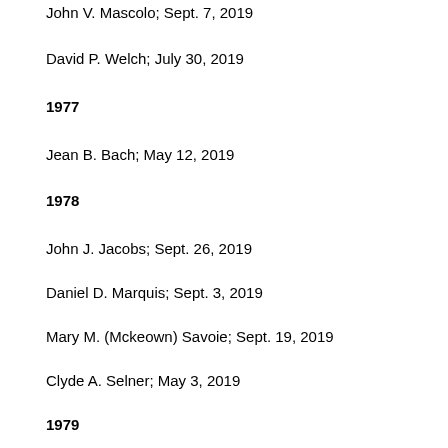John V. Mascolo; Sept. 7, 2019
David P. Welch; July 30, 2019
1977
Jean B. Bach; May 12, 2019
1978
John J. Jacobs; Sept. 26, 2019
Daniel D. Marquis; Sept. 3, 2019
Mary M. (Mckeown) Savoie; Sept. 19, 2019
Clyde A. Selner; May 3, 2019
1979
Llewellyn E. Priest Jr.; Feb. 28, 2019
1980
Aaron V. Mobley; Aug. 8, 2019
Stanley S. Winiarski; June 13, 2019
1981